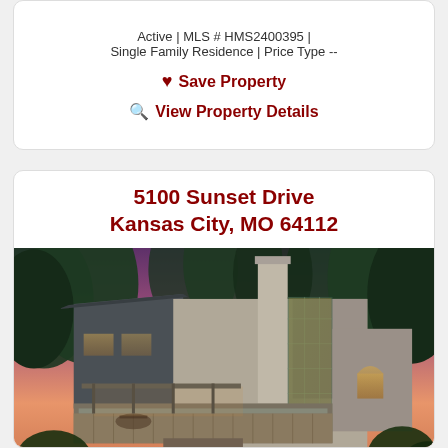Active | MLS # HMS2400395 | Single Family Residence | Price Type --
♥ Save Property
🔍 View Property Details
5100 Sunset Drive
Kansas City, MO 64112
[Figure (photo): Exterior photo of a modern multi-story home with large glass windows, a flat roof section, stone and stucco façade, wood deck with stairs, surrounded by trees at dusk with a purple-pink sky.]